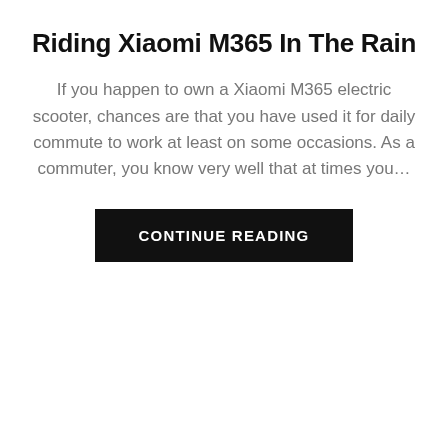Riding Xiaomi M365 In The Rain
If you happen to own a Xiaomi M365 electric scooter, chances are that you have used it for daily commute to work at least on some occasions.  As a commuter, you know very well that at times you…
CONTINUE READING